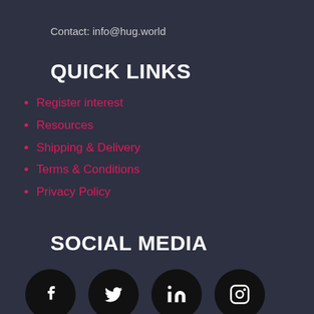Contact: info@hug.world
QUICK LINKS
Register interest
Resources
Shipping & Delivery
Terms & Conditions
Privacy Policy
SOCIAL MEDIA
[Figure (infographic): Four social media icon circles (black circles with white icons): Facebook (f), Twitter (bird), LinkedIn (in), Instagram (camera)]